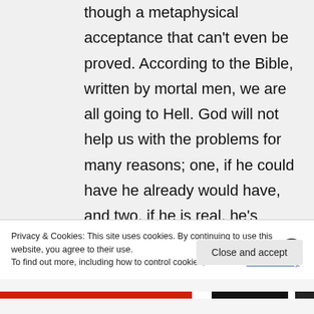though a metaphysical acceptance that can't even be proved. According to the Bible, written by mortal men, we are all going to Hell. God will not help us with the problems for many reasons; one, if he could have he already would have, and two, if he is real, he's already abandoned us. He could reveal himself to the world and make it a better place, but he
Privacy & Cookies: This site uses cookies. By continuing to use this website, you agree to their use.
To find out more, including how to control cookies, see here: Cookie Policy
Close and accept